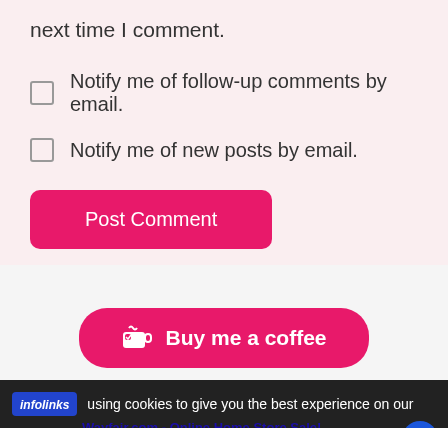next time I comment.
Notify me of follow-up comments by email.
Notify me of new posts by email.
Post Comment
[Figure (other): Buy me a coffee button - pink rounded button with coffee cup icon]
using cookies to give you the best experience on our
[Figure (other): Wayfair.com advertisement - Online Home Store Sale! Shop for A Zillion Things Home across all styles at Wayfair! www.wayfair.com]